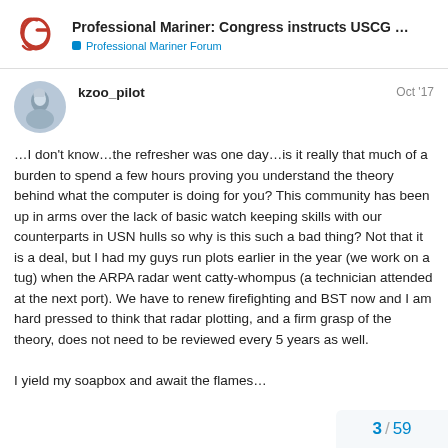Professional Mariner: Congress instructs USCG … — Professional Mariner Forum
kzoo_pilot — Oct '17
…I don't know…the refresher was one day…is it really that much of a burden to spend a few hours proving you understand the theory behind what the computer is doing for you? This community has been up in arms over the lack of basic watch keeping skills with our counterparts in USN hulls so why is this such a bad thing? Not that it is a deal, but I had my guys run plots earlier in the year (we work on a tug) when the ARPA radar went catty-whompus (a technician attended at the next port). We have to renew firefighting and BST now and I am hard pressed to think that radar plotting, and a firm grasp of the theory, does not need to be reviewed every 5 years as well.

I yield my soapbox and await the flames…
3 / 59